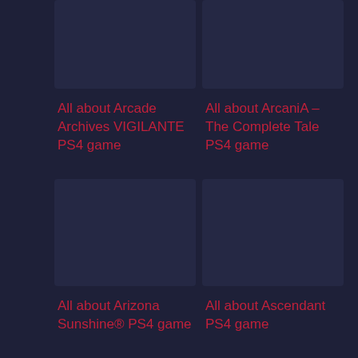All about Arcade Archives VIGILANTE PS4 game
All about ArcaniA – The Complete Tale PS4 game
All about Arizona Sunshine® PS4 game
All about Ascendant PS4 game